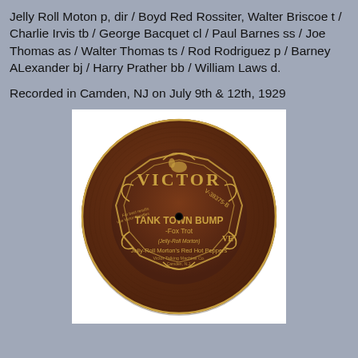Jelly Roll Moton p, dir / Boyd Red Rossiter, Walter Briscoe t / Charlie Irvis tb / George Bacquet cl / Paul Barnes ss / Joe Thomas as / Walter Thomas ts / Rod Rodriguez p / Barney ALexander bj / Harry Prather bb / William Laws d.
Recorded in Camden, NJ on July 9th & 12th, 1929
[Figure (photo): A Victor 78rpm record label (V-38075-B) showing 'TANK TOWN BUMP - Fox Trot' by Jelly-Roll Morton's Red Hot Peppers, recorded on a dark brown/maroon disc with gold lettering and decorative gold border.]